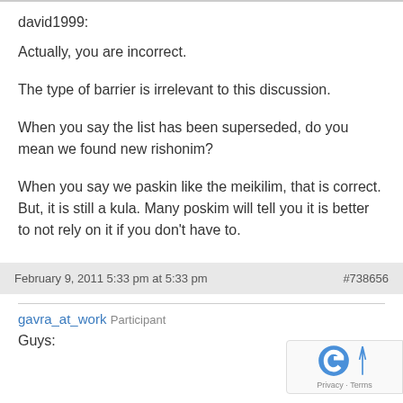david1999:
Actually, you are incorrect.

The type of barrier is irrelevant to this discussion.

When you say the list has been superseded, do you mean we found new rishonim?

When you say we paskin like the meikilim, that is correct. But, it is still a kula. Many poskim will tell you it is better to not rely on it if you don't have to.
February 9, 2011 5:33 pm at 5:33 pm
#738656
gavra_at_work  Participant
Guys: